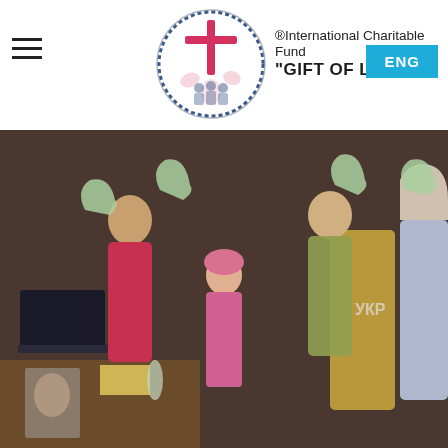®International Charitable Fund "GIFT OF LIFE"
[Figure (photo): Group of people including a small child in pink jacket holding green plastic bags of goods, indoors. Counselor Nina Kremenetz with group of refugees receiving aid packages.]
Counselor Nina Kremenetz with group of refugees rece...